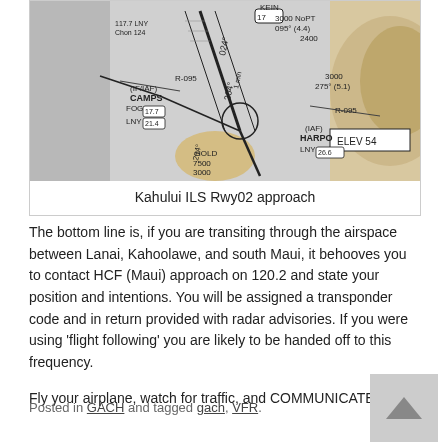[Figure (other): Kahului ILS Rwy02 approach chart showing instrument approach procedure with fixes CAMPS (IF/IAF), HARPO (IAF), holding pattern, course 024°/204°, altitudes 3000ft and 7500/3000ft, ELEV 54, various navigation fixes and bearings including R-095, LNY frequencies 17.7/21.4/17/26.6, and terrain depiction on right side.]
Kahului ILS Rwy02 approach
The bottom line is, if you are transiting through the airspace between Lanai, Kahoolawe, and south Maui, it behooves you to contact HCF (Maui) approach on 120.2 and state your position and intentions. You will be assigned a transponder code and in return provided with radar advisories. If you were using 'flight following' you are likely to be handed off to this frequency.
Fly your airplane, watch for traffic, and COMMUNICATE!
Posted in GACH and tagged gach, VFR.